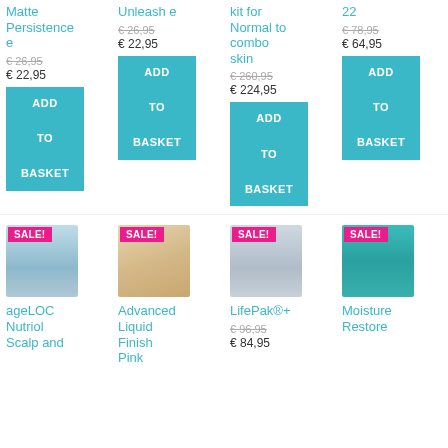Matte Persistence e
€ 26,95 (strikethrough)
€ 22,95
ADD TO BASKET
Unleash e
€ 26,95 (strikethrough)
€ 22,95
ADD TO BASKET
kit for Normal to combo skin
€ 260,95 (strikethrough)
€ 224,95
ADD TO BASKET
22
€ 78,95 (strikethrough)
€ 64,95
ADD TO BASKET
[Figure (photo): ageLOC Nutriol Scalp and product bottle with SALE! badge]
ageLOC Nutriol Scalp and
[Figure (photo): Advanced Liquid Finish Pink product with SALE! badge]
Advanced Liquid Finish Pink
[Figure (photo): LifePak®+ product with SALE! badge]
LifePak®+
€ 96,95 (strikethrough)
€ 84,95
[Figure (photo): Moisture Restore product with SALE! badge]
Moisture Restore